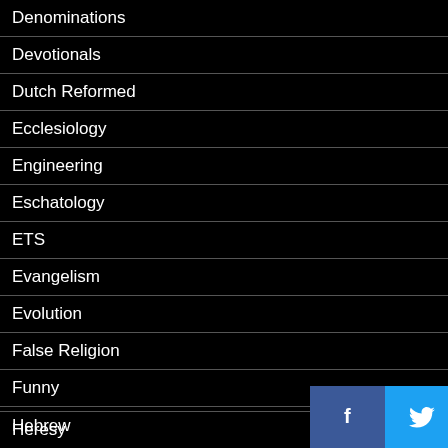Denominations
Devotionals
Dutch Reformed
Ecclesiology
Engineering
Eschatology
ETS
Evangelism
Evolution
False Religion
Funny
Hebrew
Heresy
[Figure (screenshot): Social sharing bar with Facebook, Twitter, LinkedIn, and Reddit icons]